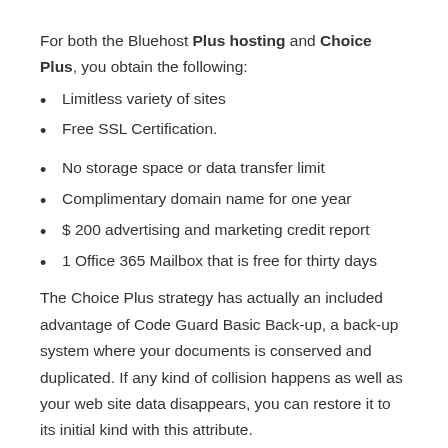For both the Bluehost Plus hosting and Choice Plus, you obtain the following:
Limitless variety of sites
Free SSL Certification.
No storage space or data transfer limit
Complimentary domain name for one year
$ 200 advertising and marketing credit report
1 Office 365 Mailbox that is free for thirty days
The Choice Plus strategy has actually an included advantage of Code Guard Basic Back-up, a back-up system where your documents is conserved and duplicated. If any kind of collision happens as well as your web site data disappears, you can restore it to its initial kind with this attribute.
Notification that although both plans cost the very same, the